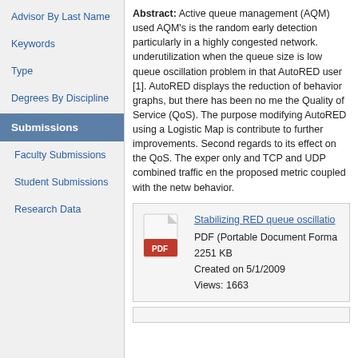Advisor By Last Name
Keywords
Type
Degrees By Discipline
Submissions
Faculty Submissions
Student Submissions
Research Data
Abstract: Active queue management (AQM) used AQM's is the random early detection particularly in a highly congested network. underutilization when the queue size is low queue oscillation problem in that AutoRED user [1]. AutoRED displays the reduction of behavior graphs, but there has been no me the Quality of Service (QoS). The purpose modifying AutoRED using a Logistic Map is contribute to further improvements. Second regards to its effect on the QoS. The exper only and TCP and UDP combined traffic en the proposed metric coupled with the netw behavior.
Stabilizing RED queue oscillatio...
PDF (Portable Document Forma
2251 KB
Created on 5/1/2009
Views: 1663